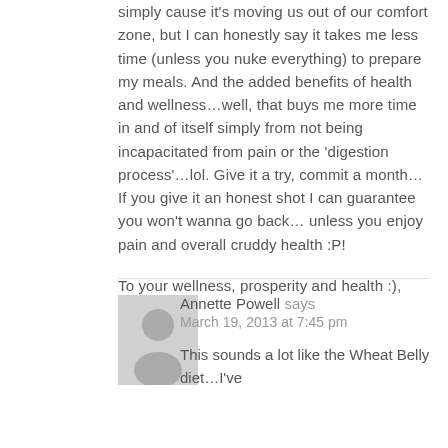simply cause it's moving us out of our comfort zone, but I can honestly say it takes me less time (unless you nuke everything) to prepare my meals. And the added benefits of health and wellness…well, that buys me more time in and of itself simply from not being incapacitated from pain or the 'digestion process'…lol. Give it a try, commit a month…If you give it an honest shot I can guarantee you won't wanna go back…unless you enjoy pain and overall cruddy health :P!

To your wellness, prosperity and health :),
Dan
REPLY
[Figure (illustration): Generic user avatar - gray silhouette of a person on light gray background]
Annette Powell says
March 19, 2013 at 7:45 pm
This sounds a lot like the Wheat Belly diet…I've